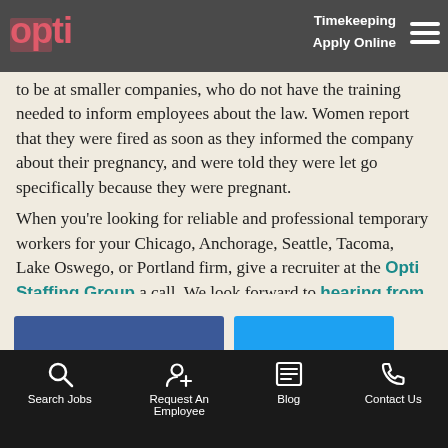Opti Staffing Group — Timekeeping | Apply Online
The biggest problem with discrimination seems to be at smaller companies, who do not have the training needed to inform employees about the law. Women report that they were fired as soon as they informed the company about their pregnancy, and were told they were let go specifically because they were pregnant. When you're looking for reliable and professional temporary workers for your Chicago, Anchorage, Seattle, Tacoma, Lake Oswego, or Portland firm, give a recruiter at the Opti Staffing Group a call. We look forward to hearing from you!
Search Jobs | Request An Employee | Blog | Contact Us